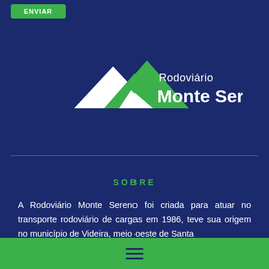[Figure (logo): Rodoviário Monte Sereno logo with mountain/road graphic in white and green, and text 'Rodoviário Monte Sereno' in white bold font]
SOBRE
A Rodoviário Monte Sereno foi criada para atuar no transporte rodoviário de cargas em 1986, teve sua origem no município de Videira, meio oeste de Santa